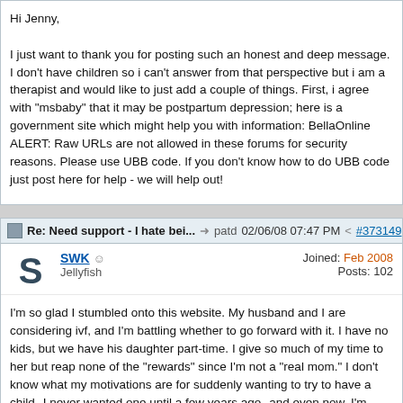Hi Jenny,

I just want to thank you for posting such an honest and deep message. I don't have children so i can't answer from that perspective but i am a therapist and would like to just add a couple of things. First, i agree with "msbaby" that it may be postpartum depression; here is a government site which might help you with information: BellaOnline ALERT: Raw URLs are not allowed in these forums for security reasons. Please use UBB code. If you don't know how to do UBB code just post here for help - we will help out!
Re: Need support - I hate bei... patd 02/06/08 07:47 PM #373149
SWK Jellyfish Joined: Feb 2008 Posts: 102
I'm so glad I stumbled onto this website. My husband and I are considering ivf, and I'm battling whether to go forward with it. I have no kids, but we have his daughter part-time. I give so much of my time to her but reap none of the "rewards" since I'm not a "real mom." I don't know what my motivations are for suddenly wanting to try to have a child--I never wanted one until a few years ago--and even now, I'm worried that I'll resent the loss of financial freedom that we've worked so hard to achieve. Jenny, your thoughts, as well as others who've posted, have pushed me